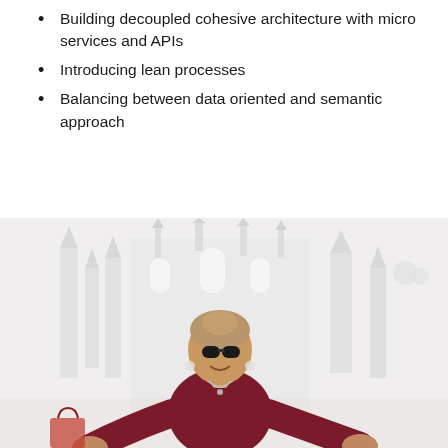Building decoupled cohesive architecture with micro services and APIs
Introducing lean processes
Balancing between data oriented and semantic approach
[Figure (photo): A smiling woman with sunglasses and an updo hairstyle wearing a dark red velvet top, gesturing with hands open, standing in front of a large ornate Gothic-style cathedral (Milan Cathedral) with a blurred white/grey sky background.]